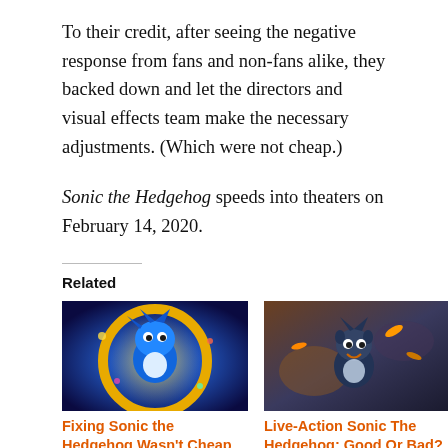To their credit, after seeing the negative response from fans and non-fans alike, they backed down and let the directors and visual effects team make the necessary adjustments. (Which were not cheap.)
Sonic the Hedgehog speeds into theaters on February 14, 2020.
Related
[Figure (photo): Movie poster or promotional image of Sonic the Hedgehog (blue animated hedgehog in a golden ring with colorful energy effects)]
Fixing Sonic the Hedgehog Wasn't Cheap
November 19, 2019
In "Entertainment"
[Figure (photo): Movie image of Sonic the Hedgehog (Live-Action, blue hedgehog with orange/brown tones, action scene)]
Live-Action Sonic The Hedgehog: Good Or Bad?
May 15, 2020
In "Entertainment"